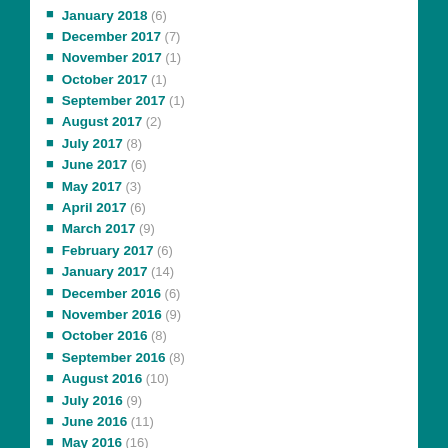January 2018 (6)
December 2017 (7)
November 2017 (1)
October 2017 (1)
September 2017 (1)
August 2017 (2)
July 2017 (8)
June 2017 (6)
May 2017 (3)
April 2017 (6)
March 2017 (9)
February 2017 (6)
January 2017 (14)
December 2016 (6)
November 2016 (9)
October 2016 (8)
September 2016 (8)
August 2016 (10)
July 2016 (9)
June 2016 (11)
May 2016 (16)